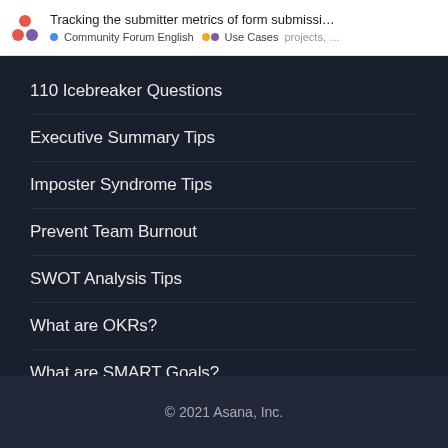Tracking the submitter metrics of form submissi... | Community Forum English | Use Cases | projects, ...
110 Icebreaker Questions
Executive Summary Tips
Imposter Syndrome Tips
Prevent Team Burnout
SWOT Analysis Tips
What are OKRs?
What are SMART Goals?
What is Scope Creep?
See all guides
© 2021 Asana, Inc.